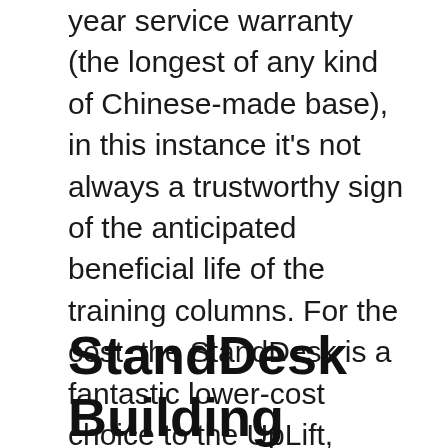year service warranty (the longest of any kind of Chinese-made base), in this instance it's not always a trustworthy sign of the anticipated beneficial life of the training columns. For the cost, the StandDesk is a fantastic lower-cost choice to the UpLift, Jarvis and also various other Chinese-made desks. In spite of its security problems this is a far much better product than the Autonomous SmartDesk or IKEA Bekant could ever before hope to be, as well as a good value generally. It's the mid-priced offering in the wide category of Chinese-made workdesks that is gaining customers from both its less expensive as well as pricier peers.
StandDesk Building